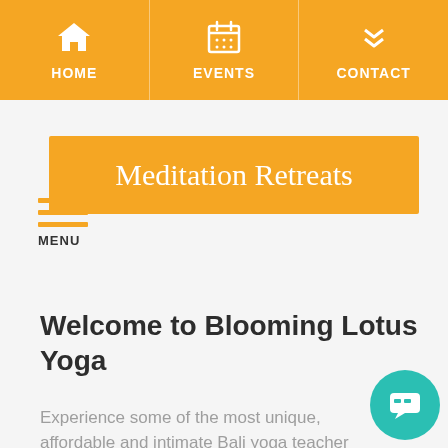HOME | EVENTS | CONTACT
Meditation Retreats
MENU
Welcome to Blooming Lotus Yoga
Experience some of the most unique, affordable and intimate Bali yoga teacher